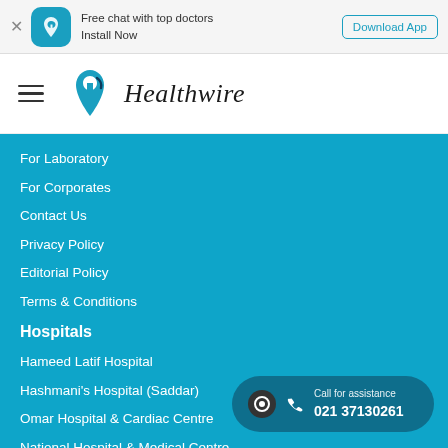[Figure (screenshot): App download banner with Healthwire app icon, text 'Free chat with top doctors Install Now' and Download App button]
[Figure (logo): Healthwire logo with teal heart/location pin icon and italic text 'Healthwire']
For Laboratory
For Corporates
Contact Us
Privacy Policy
Editorial Policy
Terms & Conditions
Hospitals
Hameed Latif Hospital
Hashmani's Hospital (Saddar)
Omar Hospital & Cardiac Centre
National Hospital & Medical Centre
Doctors Hospital
Call for assistance
021 37130261